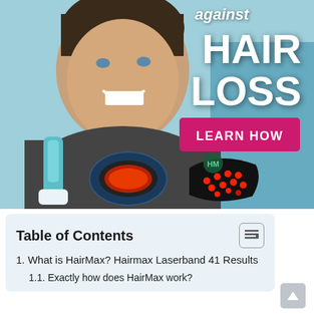[Figure (photo): Advertisement photo of a smiling man holding hair loss treatment devices (laser brush, laser band, and laser cap with red lights), with text overlay 'against HAIR LOSS' and a pink 'LEARN HOW' button. Background is light blue/teal.]
Table of Contents
1. What is HairMax? Hairmax Laserband 41 Results
1.1. Exactly how does HairMax work?